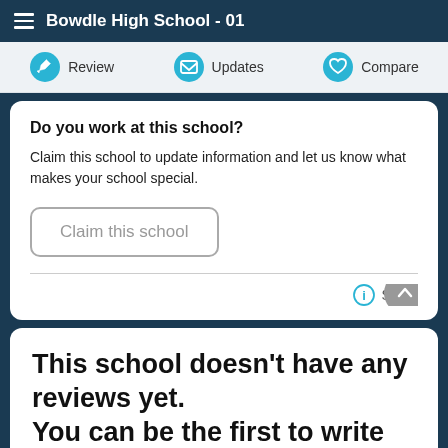Bowdle High School - 01
Review   Updates   Compare
Do you work at this school?
Claim this school to update information and let us know what makes your school special.
Claim this school
Source
This school doesn't have any reviews yet.
You can be the first to write